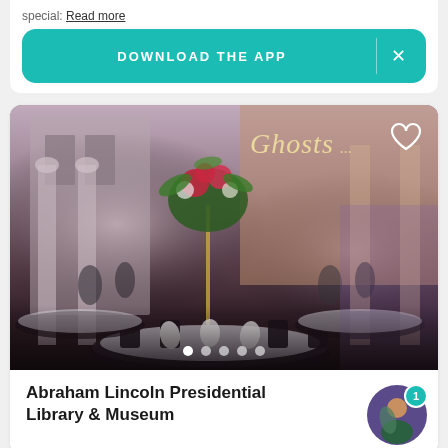special: Read more
DOWNLOAD THE APP  ×
[Figure (photo): Wedding reception interior at Abraham Lincoln Presidential Library & Museum venue, showing elegantly set round tables with white linens, dark chairs, tall floral centerpiece with red and pink flowers and greenery, purple/pink uplighting on columns, and a neon 'Ghosts' sign in the background. Carousel with 5 dots visible at bottom.]
Abraham Lincoln Presidential Library & Museum